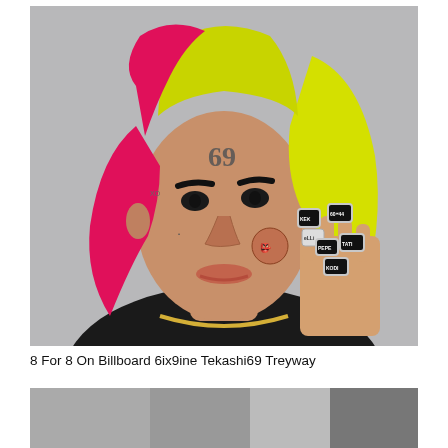[Figure (photo): Portrait photo of rapper Tekashi 6ix9ine (Tekashi69) showing face tattoos, multicolored hair (pink, yellow, green), black hoodie, gold chain, and multiple diamond-encrusted rings held up near his face. Rings are labeled with text including PEPE, KEKE, GOSHA, KODI, TATI, eLLi.]
8 For 8 On Billboard 6ix9ine Tekashi69 Treyway
[Figure (photo): Partially visible second photo at the bottom of the page, appears blurred or cropped.]